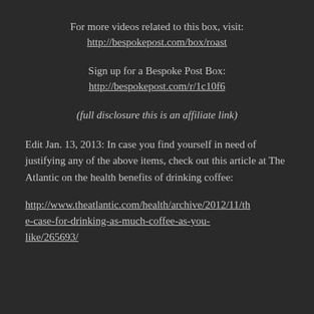For more videos related to this box, visit:
http://bespokepost.com/box/roast
Sign up for a Bespoke Post Box:
http://bespokepost.com/r/1c10f6
(full disclosure this is an affiliate link)
Edit Jan. 13, 2013: In case you find yourself in need of justifying any of the above items, check out this article at The Atlantic on the health benefits of drinking coffee:
http://www.theatlantic.com/health/archive/2012/11/the-case-for-drinking-as-much-coffee-as-you-like/265693/